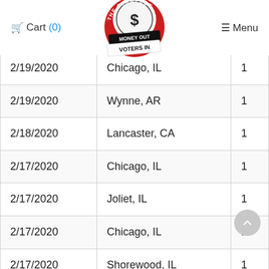Cart (0)   [THE STAMPEDE / MONEY OUT / VOTERS IN logo]   Menu
| Date | Location | Qty |
| --- | --- | --- |
| 2/19/2020 | Chicago, IL | 1 |
| 2/19/2020 | Wynne, AR | 1 |
| 2/18/2020 | Lancaster, CA | 1 |
| 2/17/2020 | Chicago, IL | 1 |
| 2/17/2020 | Joliet, IL | 1 |
| 2/17/2020 | Chicago, IL | 1 |
| 2/17/2020 | Shorewood, IL | 1 |
| 2/16/2020 | Chicago, IL | 1 |